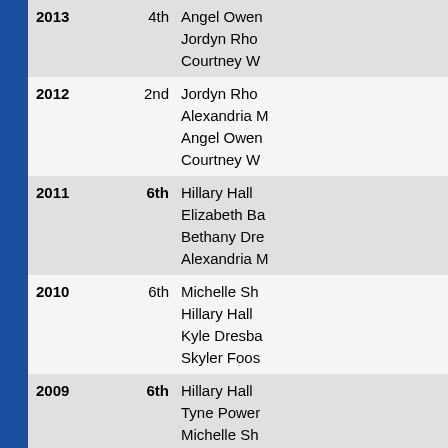| Year | Place | Names |
| --- | --- | --- |
| 2013 | 4th | Angel Owen
Jordyn Rho
Courtney W |
| 2012 | 2nd | Jordyn Rho
Alexandria M
Angel Owen
Courtney W |
| 2011 | 6th | Hillary Hall
Elizabeth Ba
Bethany Dre
Alexandria M |
| 2010 | 6th | Michelle Sh
Hillary Hall
Kyle Dresba
Skyler Foos |
| 2009 | 6th | Hillary Hall
Tyne Power
Michelle Sh
Austin Stine |
| 2008 | 6th | Tyne Power
Hillary Hall
Michelle Sh
Austin Stine |
| 2007 | 4th | Tyne Power
Elizabeth D
Cody Johns |